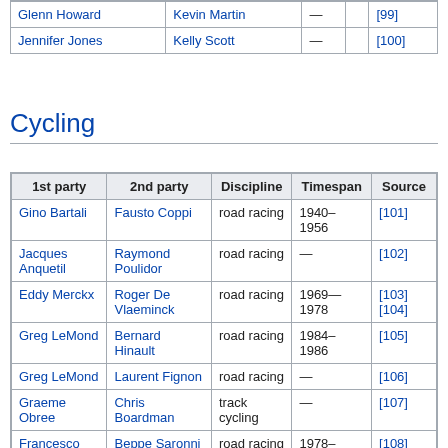| 1st party | 2nd party | Discipline | Timespan | Source |
| --- | --- | --- | --- | --- |
| Glenn Howard | Kevin Martin | — |  | [99] |
| Jennifer Jones | Kelly Scott | — |  | [100] |
Cycling
| 1st party | 2nd party | Discipline | Timespan | Source |
| --- | --- | --- | --- | --- |
| Gino Bartali | Fausto Coppi | road racing | 1940–1956 | [101] |
| Jacques Anquetil | Raymond Poulidor | road racing | — | [102] |
| Eddy Merckx | Roger De Vlaeminck | road racing | 1969—1978 | [103][104] |
| Greg LeMond | Bernard Hinault | road racing | 1984–1986 | [105] |
| Greg LeMond | Laurent Fignon | road racing | — | [106] |
| Graeme Obree | Chris Boardman | track cycling | — | [107] |
| Francesco Moser | Beppe Saronni | road racing | 1978–1986 | [108][109] |
| Lance Armstrong | Marco Pantani | road racing | 2000 | [110][111] |
| Anna Meares | Victoria Pendleton | track cycling | –2012 | [112][113][114] |